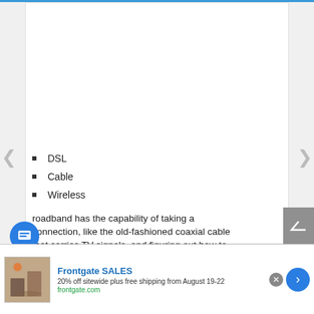DSL
Cable
Wireless
roadband has the capability of taking a connection, like the old-fashioned coaxial cable that carries TV signals, and figuring out how to
[Figure (screenshot): Advertisement banner for Frontgate SALES: 20% off sitewide plus free shipping from August 19-22, frontgate.com]
Frontgate SALES — 20% off sitewide plus free shipping from August 19-22 — frontgate.com